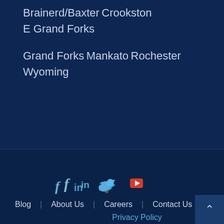Brainerd/Baxter
Crookston
E Grand Forks
Grand Forks
Mankato
Rochester
Wyoming
[Figure (infographic): Social media icons: Facebook (f), LinkedIn (in), Twitter bird, YouTube play button]
Blog | About Us | Careers | Contact Us
Privacy Policy